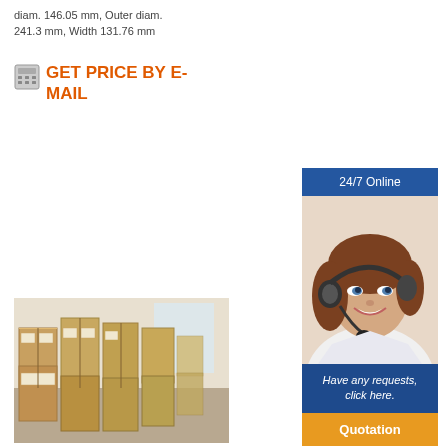diam. 146.05 mm, Outer diam. 241.3 mm, Width 131.76 mm
GET PRICE BY E-MAIL
[Figure (photo): Warehouse with stacked cardboard boxes on pallets]
[Figure (infographic): 24/7 Online contact widget with photo of woman wearing headset, 'Have any requests, click here.' text, and Quotation button]